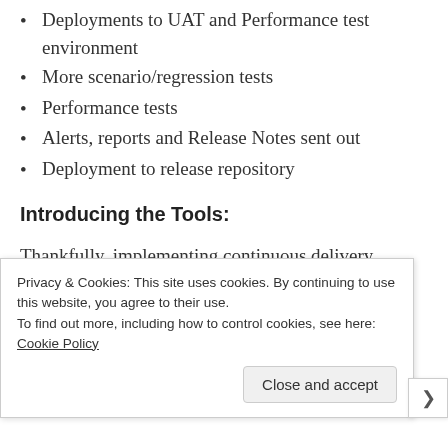Deployments to UAT and Performance test environment
More scenario/regression tests
Performance tests
Alerts, reports and Release Notes sent out
Deployment to release repository
Introducing the Tools:
Thankfully, implementing continuous delivery
Privacy & Cookies: This site uses cookies. By continuing to use this website, you agree to their use.
To find out more, including how to control cookies, see here: Cookie Policy